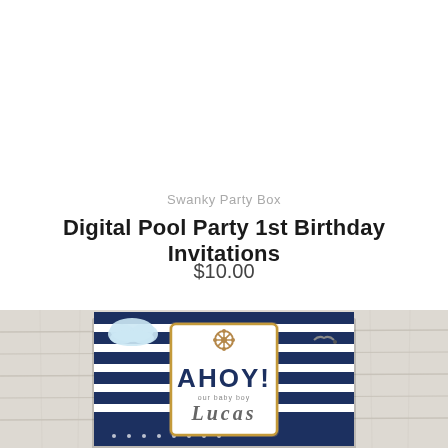Swanky Party Box
Digital Pool Party 1st Birthday Invitations
$10.00
[Figure (photo): Nautical-themed 1st birthday party invitation showing navy and white stripes, with a center badge reading AHOY! our baby boy Lucas, a ship wheel graphic, a seagull, and clouds, displayed on a white wooden plank background.]